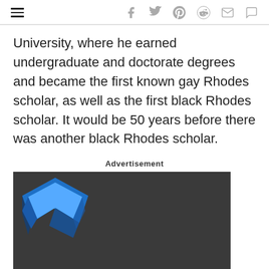[hamburger menu] [social icons: facebook, twitter, pinterest, reddit, email, comment]
University, where he earned undergraduate and doctorate degrees and became the first known gay Rhodes scholar, as well as the first black Rhodes scholar. It would be 50 years before there was another black Rhodes scholar.
Advertisement
[Figure (other): Advertisement banner with dark background and a blue geometric logo shape in the upper left corner]